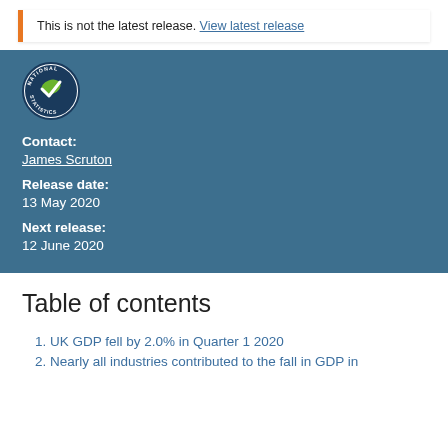This is not the latest release. View latest release
[Figure (logo): National Statistics circular logo with green checkmark]
Contact:
James Scruton
Release date:
13 May 2020
Next release:
12 June 2020
Table of contents
UK GDP fell by 2.0% in Quarter 1 2020
Nearly all industries contributed to the fall in GDP in